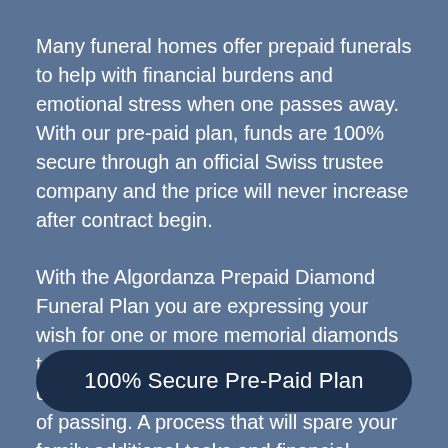Many funeral homes offer prepaid funerals to help with financial burdens and emotional stress when one passes away. With our pre-paid plan, funds are 100% secure through an official Swiss trustee company and the price will never increase after contract begin.
With the Algordanza Prepaid Diamond Funeral Plan you are expressing your wish for one or more memorial diamonds to be made from your cremated remains or hair for your loved ones after your time of passing. A process that will spare your family additional tasks and financial burdens, in a time of grief and mourning.
100% Secure Pre-Paid Plan